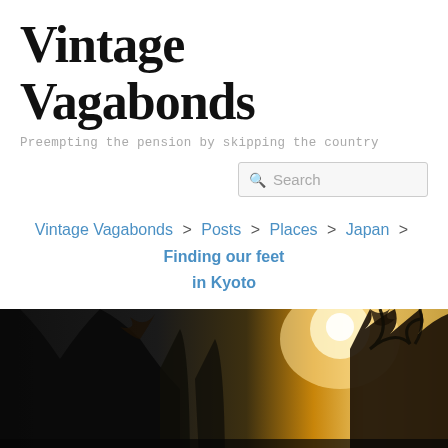Vintage Vagabonds
Preempting the pension by skipping the country
Search
Vintage Vagabonds > Posts > Places > Japan > Finding our feet in Kyoto
[Figure (photo): Outdoor photo showing silhouettes of trees against a warm golden/yellow sky with sun flare, appearing to be taken at sunrise or sunset in Kyoto, Japan.]
≡ Menu